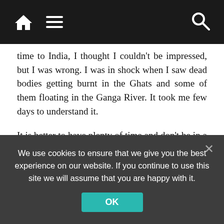[Navigation bar with home, menu, and search icons]
time to India, I thought I couldn't be impressed, but I was wrong. I was in shock when I saw dead bodies getting burnt in the Ghats and some of them floating in the Ganga River. It took me few days to understand it.

It is better to have plenty of time and don't be in a hurry: No watch, no phone, just yourself pushing your limits till the end. You need to be patient, sometimes children annoy you and drive you crazy, but it's the price you have to pay. You need to make plans day by day. Travel to India by train is one of the things I would recommend as you get a taste of the real India.
We use cookies to ensure that we give you the best experience on our website. If you continue to use this site we will assume that you are happy with it.